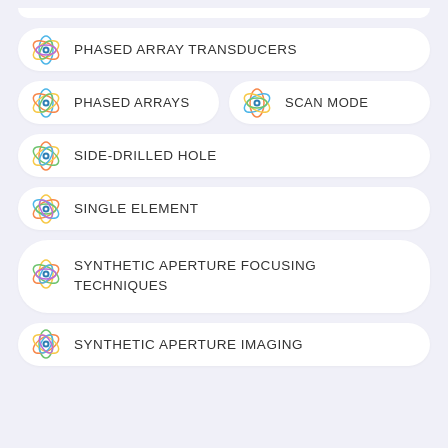PHASED ARRAY TRANSDUCERS
PHASED ARRAYS
SCAN MODE
SIDE-DRILLED HOLE
SINGLE ELEMENT
SYNTHETIC APERTURE FOCUSING TECHNIQUES
SYNTHETIC APERTURE IMAGING